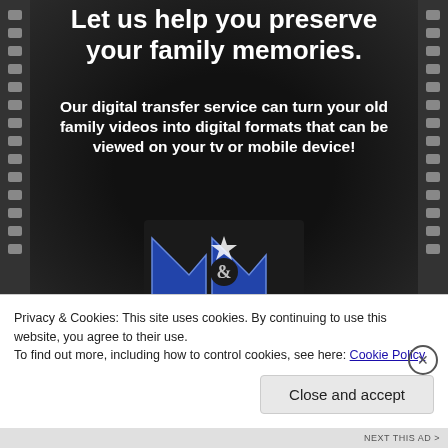[Figure (illustration): Dark film-strip style background with M&M Sound logo, showing advertisement for digital transfer service to preserve family memories]
family memories.
Our digital transfer service can turn your old family videos into digital formats that can be viewed on your tv or mobile device!
Privacy & Cookies: This site uses cookies. By continuing to use this website, you agree to their use.
To find out more, including how to control cookies, see here: Cookie Policy
Close and accept